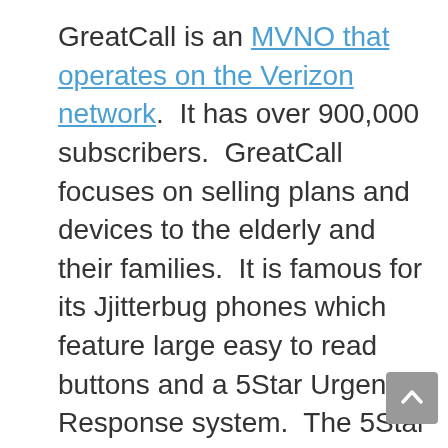GreatCall is an MVNO that operates on the Verizon network. It has over 900,000 subscribers. GreatCall focuses on selling plans and devices to the elderly and their families. It is famous for its Jjitterbug phones which feature large easy to read buttons and a 5Star Urgent Response system. The 5Star Urgent Response system can be used by subscribers to get help under any circumstance. Certified agents can confirm a subscriber's location and are trained to evaluate the situation to get them more help if needed. The service can